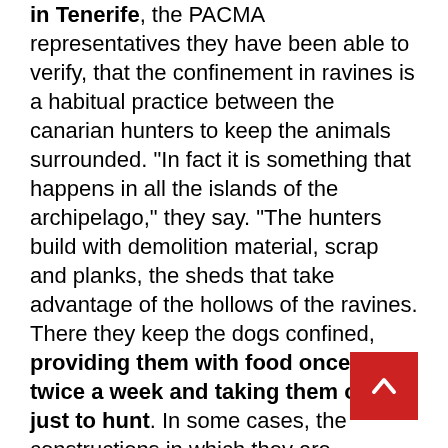in Tenerife, the PACMA representatives they have been able to verify, that the confinement in ravines is a habitual practice between the canarian hunters to keep the animals surrounded. "In fact it is something that happens in all the islands of the archipelago," they say. "The hunters build with demolition material, scrap and planks, the sheds that take advantage of the hollows of the ravines. There they keep the dogs confined, providing them with food once or twice a week and taking them out just to hunt. In some cases, the constructions in which they are enclosed do not have any type of window to the outside forcing them to live in permanent darkness and without ventilation, "they add.
They ensure that this type of folds are built on non-developable public land and blame the Canary Government, the Cabildos and it...